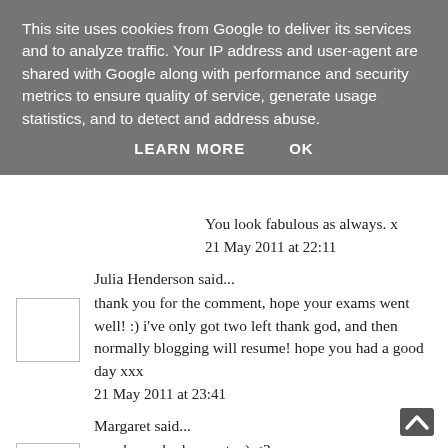This site uses cookies from Google to deliver its services and to analyze traffic. Your IP address and user-agent are shared with Google along with performance and security metrics to ensure quality of service, generate usage statistics, and to detect and address abuse.
LEARN MORE   OK
You look fabulous as always. x
21 May 2011 at 22:11
Julia Henderson said...
thank you for the comment, hope your exams went well! :) i've only got two left thank god, and then normally blogging will resume! hope you had a good day xxx
21 May 2011 at 23:41
Margaret said...
awwh you look so cute ;) <3
21 May 2011 at 23:48
Wendy Lu said...
Cuuutee I love those shorts! :) The shirt is pretty